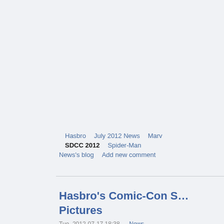Hasbro    July 2012 News    Marv...
SDCC 2012    Spider-Man
News's blog    Add new comment
Hasbro's Comic-Con S... Pictures
Tue, 2012-07-17 18:38 — News